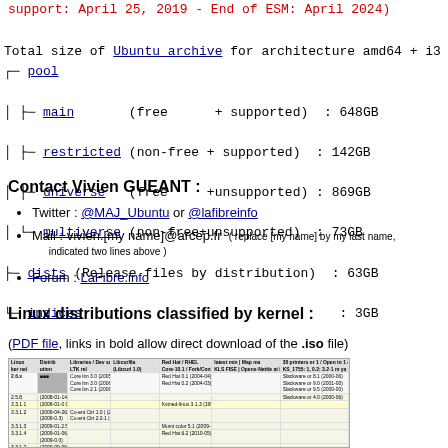support: April 25, 2019 - End of ESM: April 2024)
Total size of Ubuntu archive for architecture amd64 + i38
— pool
  — main (free + supported) : 648GB
  — restricted (non-free + supported) : 142GB
  — universe (free +unsupported) : 869GB
  — multiverse (non-free+unsupported) : 73GB
— dists (Release files by distribution) : 63GB
— indices : 3GB
Contact Vivien GUEANT :
Twitter : @MAJ_Ubuntu or @lafibreinfo
Mail : vivien.[my name]@arcep.fr  ( replace [my name] by my last name, indicated two lines above )
Forum : LaFibre.info
Linux distributions classified by kernel :
(PDF file, links in bold allow direct download of the .iso file)
[Figure (screenshot): Table screenshot showing Linux distributions classified by kernel with columns for kernel version, distro name, libraries, and other info]